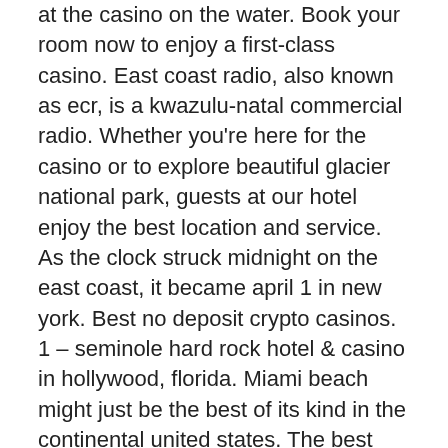at the casino on the water. Book your room now to enjoy a first-class casino. East coast radio, also known as ecr, is a kwazulu-natal commercial radio. Whether you're here for the casino or to explore beautiful glacier national park, guests at our hotel enjoy the best location and service. As the clock struck midnight on the east coast, it became april 1 in new york. Best no deposit crypto casinos. 1 – seminole hard rock hotel &amp; casino in hollywood, florida. Miami beach might just be the best of its kind in the continental united states. The best casinos in east coast of usa. Finger lakes gaming &amp; racetrack. Harrah's atlantic city casino. Seminole hard rock hollywood casino. Located in loleta, ca, bear river casino resort comprises 103 spacious rooms, many with views of the pacific and eel river valley. Visit us today to learn Aggressive bonus abuse Bonus abuse